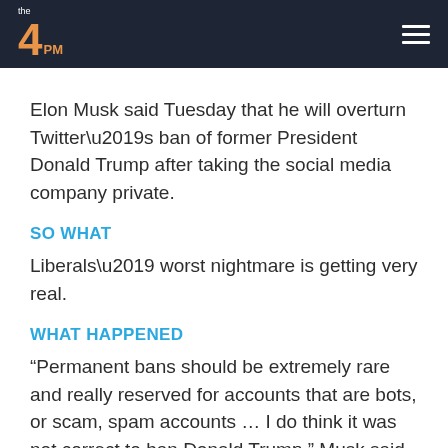The 4PM
Elon Musk said Tuesday that he will overturn Twitter’s ban of former President Donald Trump after taking the social media company private.
SO WHAT
Liberals’ worst nightmare is getting very real.
WHAT HAPPENED
“Permanent bans should be extremely rare and really reserved for accounts that are bots, or scam, spam accounts … I do think it was not correct to ban Donald Trump,” Musk said during an appearance at FT Live’s “Future of the Car” conference.